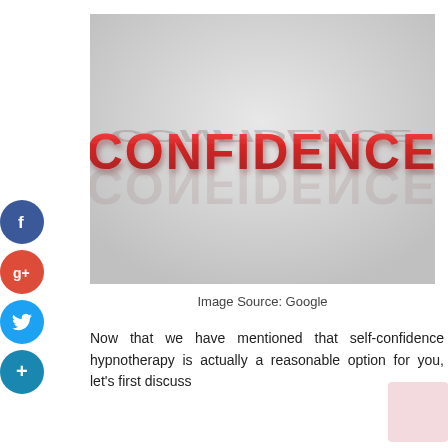[Figure (illustration): 3D red metallic text spelling 'CONFIDENCE' on a light gray background with a reflection/shadow below the text]
Image Source: Google
Now that we have mentioned that self-confidence hypnotherapy is actually a reasonable option for you, let's first discuss